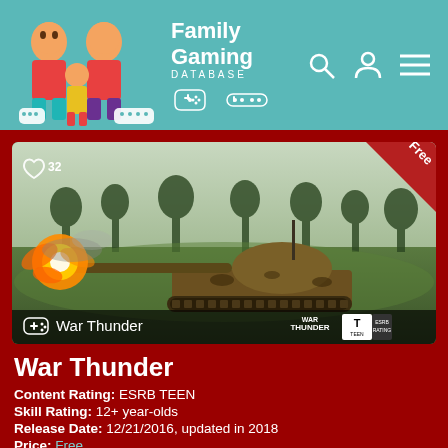Family Gaming DATABASE
[Figure (screenshot): War Thunder game screenshot showing a tank firing in a green field with trees, with a 'Free' badge in the top-right corner and the ESRB TEEN rating in the bottom-right. Game controller icon and 'War Thunder' text in bottom-left overlay.]
War Thunder
Content Rating: ESRB TEEN
Skill Rating: 12+ year-olds
Release Date: 12/21/2016, updated in 2018
Price: Free
Platforms: Mac, PC, PS4, PS5, Xbox One and Xbox Series